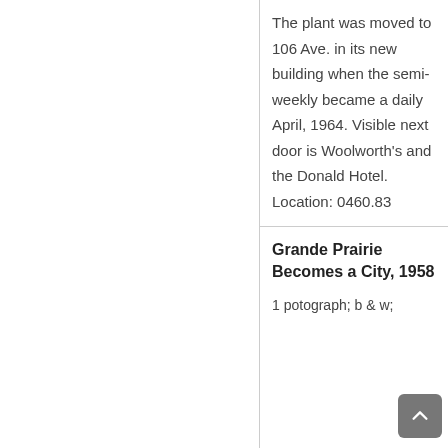The plant was moved to 106 Ave. in its new building when the semi-weekly became a daily April, 1964. Visible next door is Woolworth's and the Donald Hotel. Location: 0460.83
Grande Prairie Becomes a City, 1958
1 potograph; b & w;